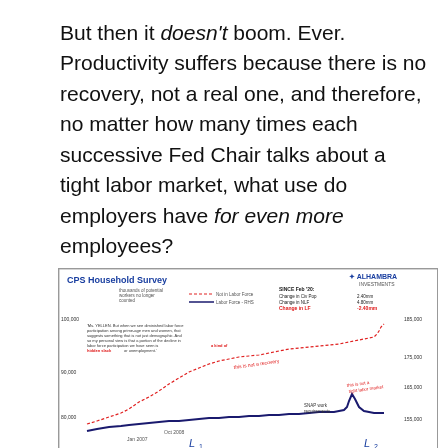But then it doesn't boom. Ever. Productivity suffers because there is no recovery, not a real one, and therefore, no matter how many times each successive Fed Chair talks about a tight labor market, what use do employers have for even more employees?
[Figure (continuous-plot): Alhambra Investments chart showing two series: dashed red line for 'thousands of potential workers no longer counted / Not in Labor Force' and solid dark blue line for 'Labor Force - RHS'. Annotations include a Yellen quote about hidden slack, labels 'this is not a recovery' and 'this is not a tight labor market', 'SNAP work requirements', dates Jan 2007, Oct 2008, and 'SINCE Feb 20' statistics showing Change in Civ Pop 2.40mm, Change in NLF 4.80mm, Change in LF -2.40mm. Y-axis left: 80,000 to 100,000; Y-axis right: 155,000 to 185,000. L1 and L2 labels at bottom.]